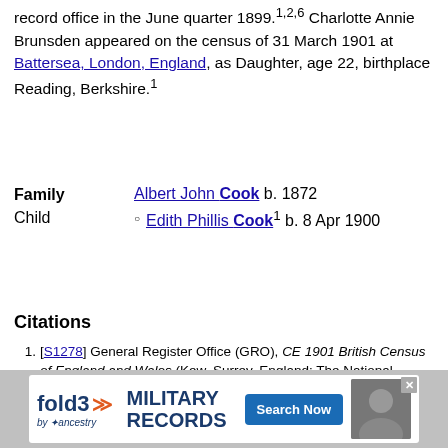record office in the June quarter 1899.1,2,6 Charlotte Annie Brunsden appeared on the census of 31 March 1901 at Battersea, London, England, as Daughter, age 22, birthplace Reading, Berkshire.1
Family   Albert John Cook b. 1872
Child   Edith Phillis Cook1 b. 8 Apr 1900
Citations
[S1278] General Register Office (GRO), CE 1901 British Census of England and Wales (Kew, Surrey, England: The National Archives (TNA), 100 Years after).
[S1290] Multi-volumes, MC0000 General Register Office Index Entry of Marriages for England and Wales: Wandsworth Vol 1d page 912, (1837 onwards), General Register Office, PO Box 2, Southport, Merseyside, England.
[S598] General Register Office (GRO), CE 1881 British Census England, Scotland, Wales, Channel Islands, Isle of Man, and Royal Navy (Kew, Surrey, England: The National Archives (TNA), 100 Years after).
[S1289] Multi-volumes, BC0000 General Register Office Index Entry of Births for England and Wales: ... General Register Office, PO Box 2, Southport, Merseyside, England.
[S...] ... Census ...